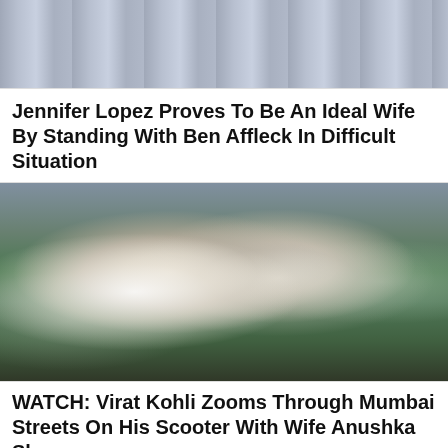[Figure (photo): Top portion of a photo showing a building/stadium with crowd in background, partially cropped]
Jennifer Lopez Proves To Be An Ideal Wife By Standing With Ben Affleck In Difficult Situation
[Figure (photo): Photo of a woman in a white off-shoulder dress and a man in India cricket whites smiling on a cricket ground, likely Anushka Sharma and Virat Kohli at a cricket stadium]
WATCH: Virat Kohli Zooms Through Mumbai Streets On His Scooter With Wife Anushka Sharma